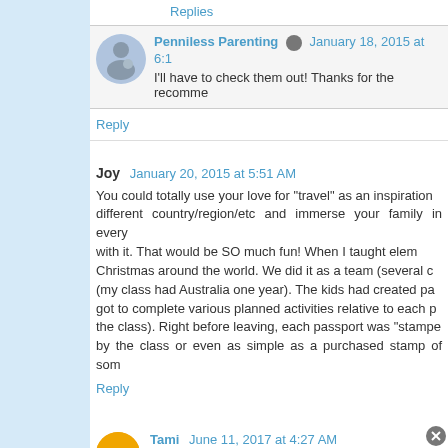Replies
Penniless Parenting  January 18, 2015 at 6:1...
I'll have to check them out! Thanks for the recomme...
Reply
Joy  January 20, 2015 at 5:51 AM
You could totally use your love for "travel" as an inspiration... different country/region/etc and immerse your family in every... with it. That would be SO much fun! When I taught elem... Christmas around the world. We did it as a team (several c... (my class had Australia one year). The kids had created pa... got to complete various planned activities relative to each p... the class). Right before leaving, each passport was "stampe... by the class or even as simple as a purchased stamp of som...
Reply
Tami  June 11, 2017 at 4:27 AM
For the broth recipe, do you mean powder, chopped, or piec...
1 teaspoons ginger
1 1/2 teaspoon cinnamon